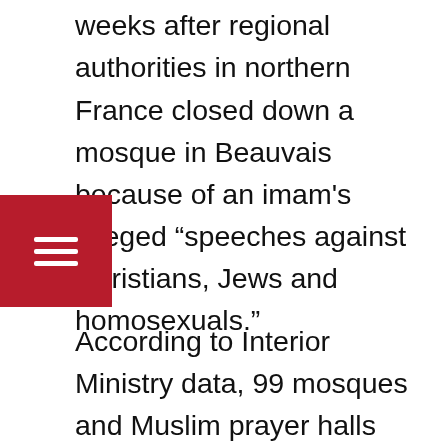The decision comes two weeks after regional authorities in northern France closed down a mosque in Beauvais because of an imam's alleged “speeches against Christians, Jews and homosexuals.”
According to Interior Ministry data, 99 mosques and Muslim prayer halls have been investigated in recent months. Some of them were accused of spreading “separatist ideology.” Around 23 have already been closed for various reasons and more are being investigated.
The crackdown came after the October 2020 murder of teacher Samuel Paty who was targeted following an online campaign